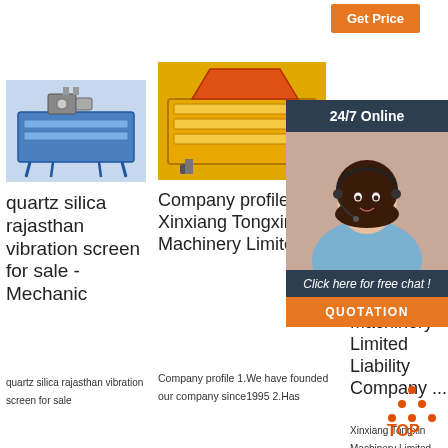Get Price
[Figure (photo): Blue industrial vibrating screen machine]
quartz silica rajasthan vibration screen for sale - Mechanic
quartz silica rajasthan vibration screen for sale
[Figure (photo): Yellow industrial vibrating screen machine]
Company profile - Xinxiang Tongxin Machinery Limited ...
Company profile 1.We have founded our company since1995 2.Has
[Figure (photo): Customer service representative - 24/7 Online chat widget]
Xinxiang Tongxin Machinery Limited Liability Company ...
Xinxiang Tongxin Machinery Limited Liability Company